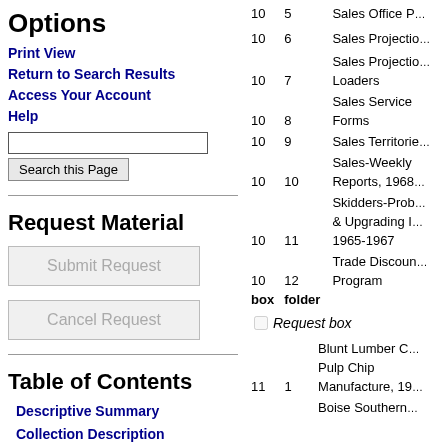Options
Print View
Return to Search Results
Access Your Account
Help
Request Material
Submit Request
Cancel Request
Table of Contents
Descriptive Summary
Collection Description
Administrative Information
| box | folder | description |
| --- | --- | --- |
| 10 | 5 | Sales Office P... |
| 10 | 6 | Sales Projectio... |
| 10 | 7 | Sales Projectio... Loaders |
| 10 | 8 | Sales Service Forms |
| 10 | 9 | Sales Territorie... |
| 10 | 10 | Sales-Weekly Reports, 1968... |
| 10 | 11 | Skidders-Prob... & Upgrading I... 1965-1967 |
| 10 | 12 | Trade Discoun... Program |
| 11 | 1 | Blunt Lumber C... Pulp Chip Manufacture, 19... |
Request box
Boise Southern...